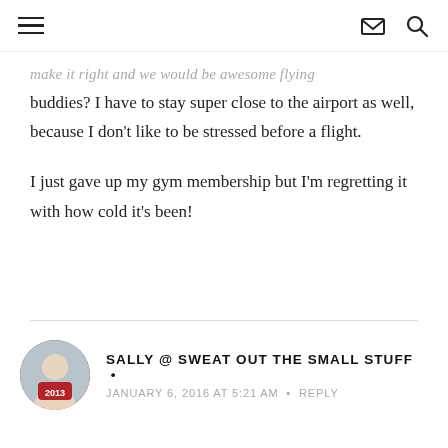[hamburger menu] [email icon] [search icon]
make it right and we would be awesome flying buddies? I have to stay super close to the airport as well, because I don't like to be stressed before a flight.
I just gave up my gym membership but I'm regretting it with how cold it's been!
SALLY @ SWEAT OUT THE SMALL STUFF •
JANUARY 6, 2016 AT 5:21 AM • REPLY